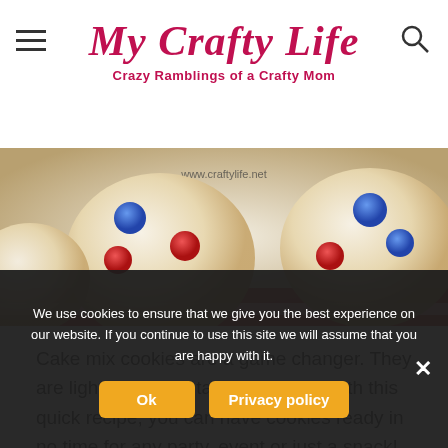My Crafty Life — Crazy Ramblings of a Crafty Mom
[Figure (photo): Close-up photo of white fluffy cake mix cookies topped with red and blue M&M candies, with watermark www.craftylife.net]
Cake mix cookies are a game changer. They are light, fluffy and taste amazing! With this quick recipe, you can have cookies ready in no time for any party, event or just a snack!
We use cookies to ensure that we give you the best experience on our website. If you continue to use this site we will assume that you are happy with it.